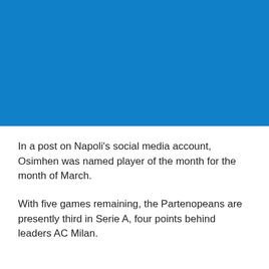[Figure (photo): Blue image area, likely a photo or graphic related to Napoli football club]
In a post on Napoli's social media account, Osimhen was named player of the month for the month of March.
With five games remaining, the Partenopeans are presently third in Serie A, four points behind leaders AC Milan.